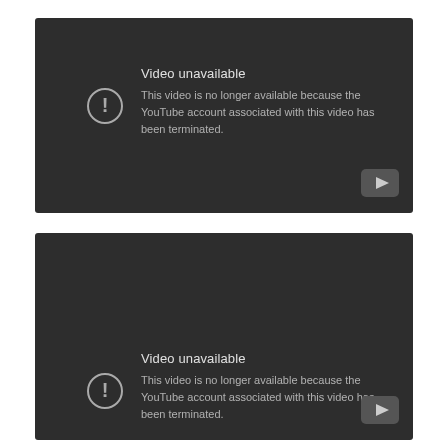[Figure (screenshot): YouTube 'Video unavailable' error screen (first). Dark gray background with a circular exclamation icon on the left, title 'Video unavailable', body text 'This video is no longer available because the YouTube account associated with this video has been terminated.', and a YouTube play button icon in the bottom-right corner.]
[Figure (screenshot): YouTube 'Video unavailable' error screen (second). Same dark gray layout as first but taller, with more empty space above the error message. Same icon, same text, same YouTube button in bottom-right.]